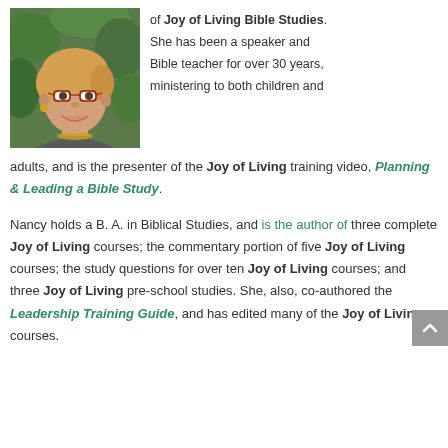[Figure (photo): Portrait photo of a smiling middle-aged woman with short blonde hair, glasses, and a necklace, in front of green foliage.]
of Joy of Living Bible Studies. She has been a speaker and Bible teacher for over 30 years, ministering to both children and adults, and is the presenter of the Joy of Living training video, Planning & Leading a Bible Study.
Nancy holds a B. A. in Biblical Studies, and is the author of three complete Joy of Living courses; the commentary portion of five Joy of Living courses; the study questions for over ten Joy of Living courses; and three Joy of Living pre-school studies. She, also, co-authored the Leadership Training Guide, and has edited many of the Joy of Living courses.